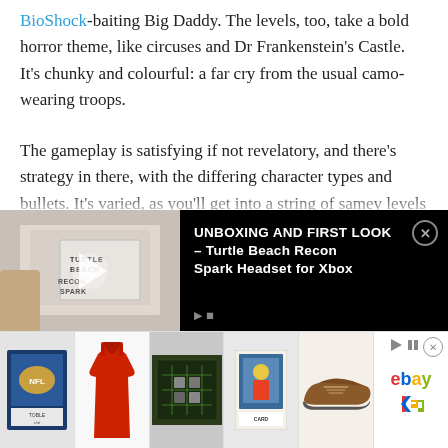BioShock-baiting Big Daddy. The levels, too, take a bold horror theme, like circuses and Dr Frankenstein's Castle. It's chunky and colourful: a far cry from the usual camo-wearing troops.
The gameplay is satisfying if not revelatory, and there's strategy in there, with the differing character types and bullets. It's varied, as you'll get into a string of samey levels and then – boom – suddenly you're firing out of an old station wagon. While there are holes in the costume, most notably in the difficulty spikes, you can patch over them by playing on the Normal difficulty, which we'd recommend simply because the
[Figure (screenshot): Video ad overlay bar showing a gaming headset unboxing video thumbnail on the left, and text 'UNBOXING AND FIRST LOOK - Turtle Beach Recon Spark Headset for Xbox' on the right, with a close button]
[Figure (screenshot): eBay advertisement strip showing 5 product thumbnails (football card, red dress, circuit board, trading card, brown shoe) and eBay logo with close button]